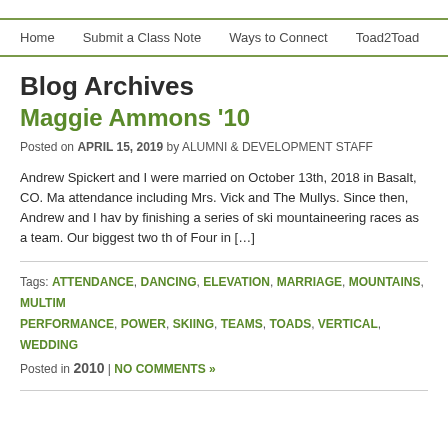Home  Submit a Class Note  Ways to Connect  Toad2Toad
Blog Archives
Maggie Ammons '10
Posted on APRIL 15, 2019 by ALUMNI & DEVELOPMENT STAFF
Andrew Spickert and I were married on October 13th, 2018 in Basalt, CO. Ma attendance including Mrs. Vick and The Mullys. Since then, Andrew and I hav by finishing a series of ski mountaineering races as a team. Our biggest two th of Four in […]
Tags: ATTENDANCE, DANCING, ELEVATION, MARRIAGE, MOUNTAINS, MULTIM PERFORMANCE, POWER, SKIING, TEAMS, TOADS, VERTICAL, WEDDING Posted in 2010 | NO COMMENTS »